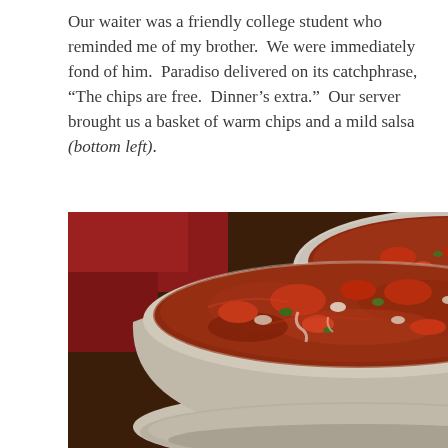Our waiter was a friendly college student who reminded me of my brother.  We were immediately fond of him.  Paradiso delivered on its catchphrase, “The chips are free.  Dinner’s extra.”  Our server brought us a basket of warm chips and a mild salsa (bottom left).
[Figure (photo): Two ceramic bowls of reddish-brown mild salsa on a dark wooden table with a red cloth visible in the background. The foreground bowl is large and prominently shown, with a smaller bowl partially visible in the upper right.]